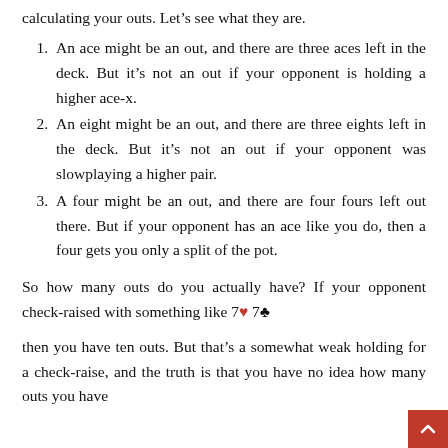calculating your outs. Let's see what they are.
An ace might be an out, and there are three aces left in the deck. But it's not an out if your opponent is holding a higher ace-x.
An eight might be an out, and there are three eights left in the deck. But it's not an out if your opponent was slowplaying a higher pair.
A four might be an out, and there are four fours left out there. But if your opponent has an ace like you do, then a four gets you only a split of the pot.
So how many outs do you actually have? If your opponent check-raised with something like 7♥ 7♣
then you have ten outs. But that's a somewhat weak holding for a check-raise, and the truth is that you have no idea how many outs you have